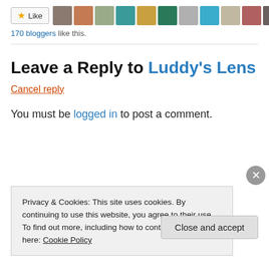[Figure (other): Like button with star icon and a row of blogger avatar thumbnails]
170 bloggers like this.
Leave a Reply to Luddy's Lens
Cancel reply
You must be logged in to post a comment.
Privacy & Cookies: This site uses cookies. By continuing to use this website, you agree to their use. To find out more, including how to control cookies, see here: Cookie Policy
Close and accept